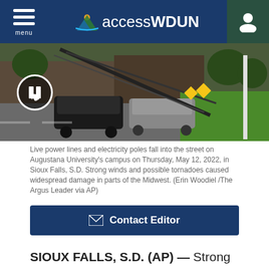accessWDUN — menu navigation header with hamburger menu and user icon
[Figure (photo): Live power lines and electricity poles fallen into a street on Augustana University campus, cars visible, green lawn, dusk lighting]
Live power lines and electricity poles fall into the street on Augustana University's campus on Thursday, May 12, 2022, in Sioux Falls, S.D. Strong winds and possible tornadoes caused widespread damage in parts of the Midwest. (Erin Woodiel /The Argus Leader via AP)
✉ Contact Editor
SIOUX FALLS, S.D. (AP) — Strong winds and possible tornadoes caused widespread damage in